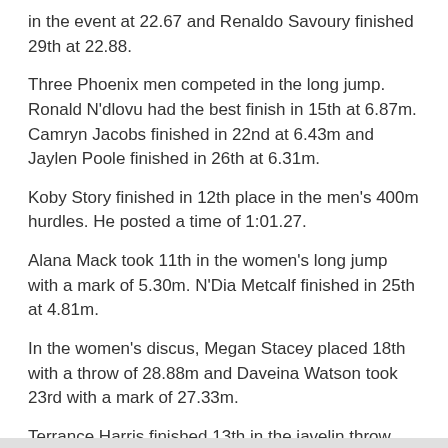in the event at 22.67 and Renaldo Savoury finished 29th at 22.88.
Three Phoenix men competed in the long jump. Ronald N'dlovu had the best finish in 15th at 6.87m. Camryn Jacobs finished in 22nd at 6.43m and Jaylen Poole finished in 26th at 6.31m.
Koby Story finished in 12th place in the men's 400m hurdles. He posted a time of 1:01.27.
Alana Mack took 11th in the women's long jump with a mark of 5.30m. N'Dia Metcalf finished in 25th at 4.81m.
In the women's discus, Megan Stacey placed 18th with a throw of 28.88m and Daveina Watson took 23rd with a mark of 27.33m.
Terrance Harris finished 13th in the javelin throw with a mark of 33.01m. Harris finished in 17th in the discus with a mark of 34.45m. Renaldo Savoruy finished one place behind Harris in 18th with a throw of 34.33m.